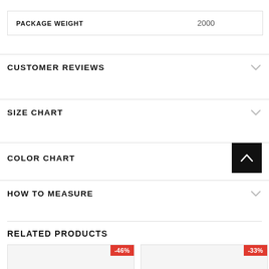| PACKAGE WEIGHT |  |
| --- | --- |
| PACKAGE WEIGHT | 2000 |
CUSTOMER REVIEWS
SIZE CHART
COLOR CHART
HOW TO MEASURE
RELATED PRODUCTS
[Figure (other): Product card with -46% discount badge]
[Figure (other): Product card with -33% discount badge]